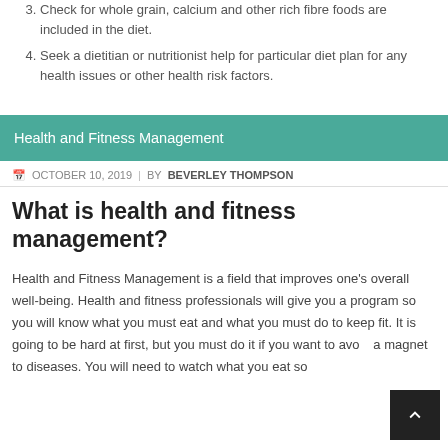3. Check for whole grain, calcium and other rich fibre foods are included in the diet.
4. Seek a dietitian or nutritionist help for particular diet plan for any health issues or other health risk factors.
Health and Fitness Management
OCTOBER 10, 2019   BY BEVERLEY THOMPSON
What is health and fitness management?
Health and Fitness Management is a field that improves one's overall well-being. Health and fitness professionals will give you a program so you will know what you must eat and what you must do to keep fit. It is going to be hard at first, but you must do it if you want to avoid being a magnet to diseases. You will need to watch what you eat so